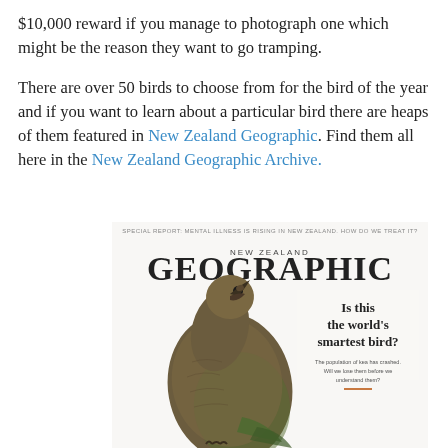$10,000 reward if you manage to photograph one which might be the reason they want to go tramping.
There are over 50 birds to choose from for the bird of the year and if you want to learn about a particular bird there are heaps of them featured in New Zealand Geographic. Find them all here in the New Zealand Geographic Archive.
[Figure (photo): Cover of New Zealand Geographic magazine featuring a kea parrot looking upward with text 'Is this the world's smartest bird?' and special report header about mental illness rising in New Zealand.]